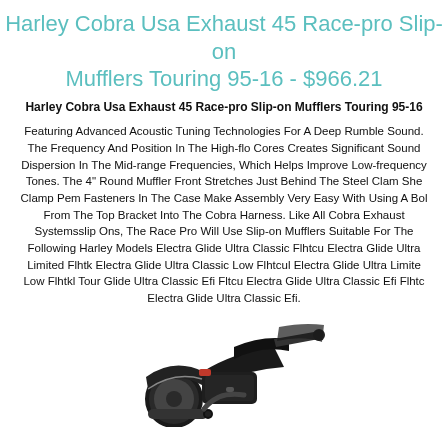Harley Cobra Usa Exhaust 45 Race-pro Slip-on Mufflers Touring 95-16 - $966.21
Harley Cobra Usa Exhaust 45 Race-pro Slip-on Mufflers Touring 95-16
Featuring Advanced Acoustic Tuning Technologies For A Deep Rumble Sound. The Frequency And Position In The High-flo Cores Creates Significant Sound Dispersion In The Mid-range Frequencies, Which Helps Improve Low-frequency Tones. The 4" Round Muffler Front Stretches Just Behind The Steel Clam Shell. Clamp Pem Fasteners In The Case Make Assembly Very Easy With Using A Bolt From The Top Bracket Into The Cobra Harness. Like All Cobra Exhaust Systemsslip Ons, The Race Pro Will Use Slip-on Mufflers Suitable For The Following Harley Models Electra Glide Ultra Classic Flhtcu Electra Glide Ultra Limited Flhtk Electra Glide Ultra Classic Low Flhtcul Electra Glide Ultra Limited Low Flhtkl Tour Glide Ultra Classic Efi Fltcu Electra Glide Ultra Classic Efi Flhtc Electra Glide Ultra Classic Efi.
[Figure (photo): Partial image of a Harley-Davidson motorcycle, showing the rear portion with exhaust/muffler area visible, dark/black in color against white background]